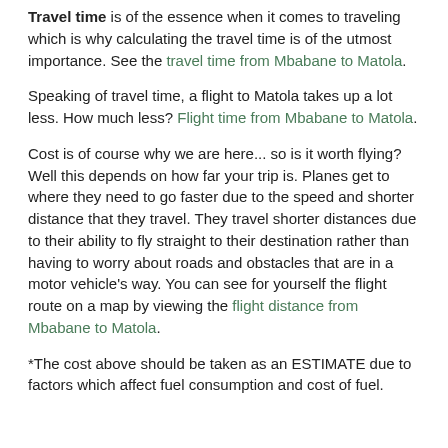Travel time is of the essence when it comes to traveling which is why calculating the travel time is of the utmost importance. See the travel time from Mbabane to Matola.
Speaking of travel time, a flight to Matola takes up a lot less. How much less? Flight time from Mbabane to Matola.
Cost is of course why we are here... so is it worth flying? Well this depends on how far your trip is. Planes get to where they need to go faster due to the speed and shorter distance that they travel. They travel shorter distances due to their ability to fly straight to their destination rather than having to worry about roads and obstacles that are in a motor vehicle's way. You can see for yourself the flight route on a map by viewing the flight distance from Mbabane to Matola.
*The cost above should be taken as an ESTIMATE due to factors which affect fuel consumption and cost of fuel.